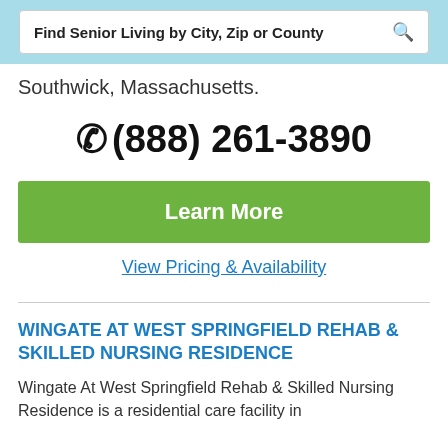Find Senior Living by City, Zip or County
Southwick, Massachusetts.
(888) 261-3890
Learn More
View Pricing & Availability
WINGATE AT WEST SPRINGFIELD REHAB & SKILLED NURSING RESIDENCE
Wingate At West Springfield Rehab & Skilled Nursing Residence is a residential care facility in